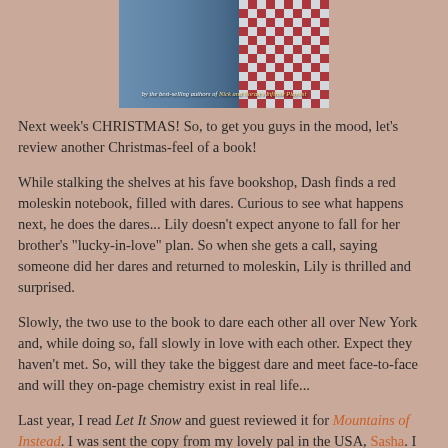[Figure (illustration): Book cover image showing a wintry/Christmas scene with blue and red checkerboard pattern, text reads 'by the best-selling authors of Nick and Norah's Infinite Playlist']
Next week's CHRISTMAS! So, to get you guys in the mood, let's review another Christmas-feel of a book!
While stalking the shelves at his fave bookshop, Dash finds a red moleskin notebook, filled with dares. Curious to see what happens next, he does the dares... Lily doesn't expect anyone to fall for her brother's "lucky-in-love" plan. So when she gets a call, saying someone did her dares and returned to moleskin, Lily is thrilled and surprised.
Slowly, the two use to the book to dare each other all over New York and, while doing so, fall slowly in love with each other. Expect they haven't met. So, will they take the biggest dare and meet face-to-face and will they on-page chemistry exist in real life...
Last year, I read Let It Snow and guest reviewed it for Mountains of Instead. I was sent the copy from my lovely pal in the USA, Sasha. I loved it as it felt like a cup of hot chocolate, perfect for this time of year. And with Just for...